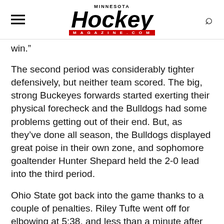MINNESOTA Hockey MAGAZINE
win.”
The second period was considerably tighter defensively, but neither team scored. The big, strong Buckeyes forwards started exerting their physical forecheck and the Bulldogs had some problems getting out of their end. But, as they’ve done all season, the Bulldogs displayed great poise in their own zone, and sophomore goaltender Hunter Shepard held the 2-0 lead into the third period.
Ohio State got back into the game thanks to a couple of penalties. Riley Tufte went off for elbowing at 5:38, and less than a minute after killing that one, Nick Wolff was called for tripping